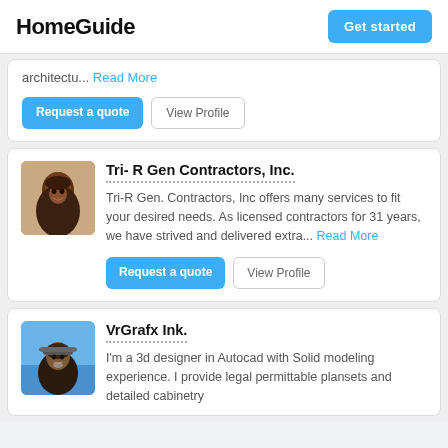HomeGuide | Get started
architectu... Read More
Request a quote | View Profile
Tri- R Gen Contractors, Inc.
Tri-R Gen. Contractors, Inc offers many services to fit your desired needs. As licensed contractors for 31 years, we have strived and delivered extra... Read More
Request a quote | View Profile
VrGrafx Ink.
I'm a 3d designer in Autocad with Solid modeling experience. I provide legal permittable plansets and detailed cabinetry